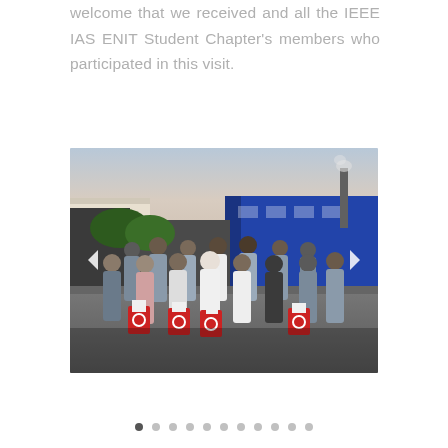welcome that we received and all the IEEE IAS ENIT Student Chapter's members who participated in this visit.
[Figure (photo): Group photo of IEEE IAS ENIT Student Chapter members wearing protective lab coats and hair nets, standing in front of an industrial facility with blue buildings at dusk. Several members are holding red branded bags.]